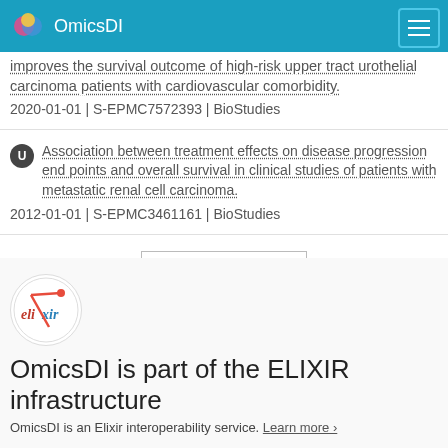OmicsDI
improves the survival outcome of high-risk upper tract urothelial carcinoma patients with cardiovascular comorbidity.
2020-01-01 | S-EPMC7572393 | BioStudies
Association between treatment effects on disease progression end points and overall survival in clinical studies of patients with metastatic renal cell carcinoma.
2012-01-01 | S-EPMC3461161 | BioStudies
Load More
[Figure (logo): ELIXIR logo - circular logo with elixir text and stylized design]
OmicsDI is part of the ELIXIR infrastructure
OmicsDI is an Elixir interoperability service. Learn more ›